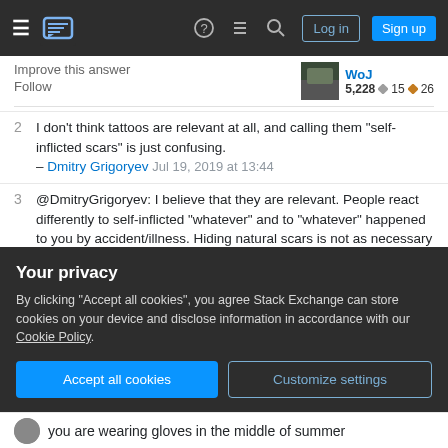Stack Exchange navigation bar with Log in and Sign up buttons
Improve this answer
Follow
WoJ 5,228 ◆15 ◆26
2  I don't think tattoos are relevant at all, and calling them "self-inflicted scars" is just confusing. – Dmitry Grigoryev  Jul 19, 2019 at 13:44
3  @DmitryGrigoryev: I believe that they are relevant. People react differently to self-inflicted "whatever" and to "whatever" happened to you by accident/illness. Hiding natural scars is not as necessary as they are less likely to bring rejection (as opposed to tattoos - about which I do not care but in plenty of places people do) – WoJ  Jul 19, 2019 at 13:51
Your privacy
By clicking "Accept all cookies", you agree Stack Exchange can store cookies on your device and disclose information in accordance with our Cookie Policy.
Accept all cookies
Customize settings
you are wearing gloves in the middle of summer